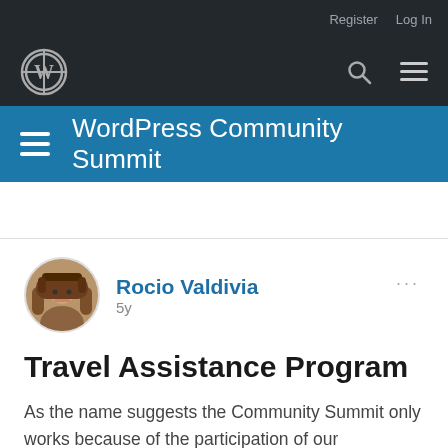Register  Log In
[Figure (logo): WordPress logo and navigation bar with search and menu icons]
WordPress Community Summit
Rocio Valdivia
5y
Travel Assistance Program
As the name suggests the Community Summit only works because of the participation of our